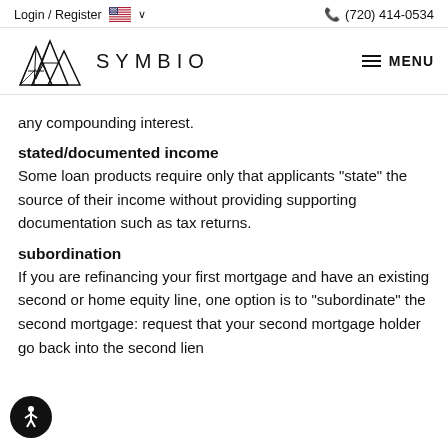Login / Register  🇺🇸 ∨    📞 (720) 414-0534
[Figure (logo): Symbio logo with mountain/triangle geometric graphic and SYMBIO wordmark, plus hamburger MENU button on the right]
any compounding interest.
stated/documented income
Some loan products require only that applicants "state" the source of their income without providing supporting documentation such as tax returns.
subordination
If you are refinancing your first mortgage and have an existing second or home equity line, one option is to "subordinate" the second mortgage: request that your second mortgage holder go back into the second lien